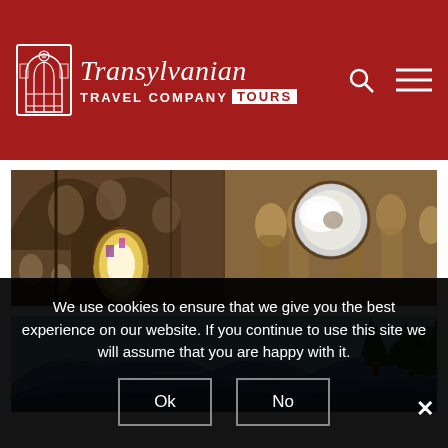[Figure (logo): Transylvanian Travel Company Tours logo — white gothic arch icon on red background, italic serif script 'Transylvanian' above sans-serif 'TRAVEL COMPANY TOURS' with TOURS in white box]
[Figure (photo): Interior of an ornate church or cathedral with gothic arched frescoed ceiling and stained glass window on left; circular window with Byzantine-style painted figures on right wall]
[Figure (photo): Outdoor mountain landscape with blue sky, forested hills, and pine trees in foreground]
We use cookies to ensure that we give you the best experience on our website. If you continue to use this site we will assume that you are happy with it.
Ok
No